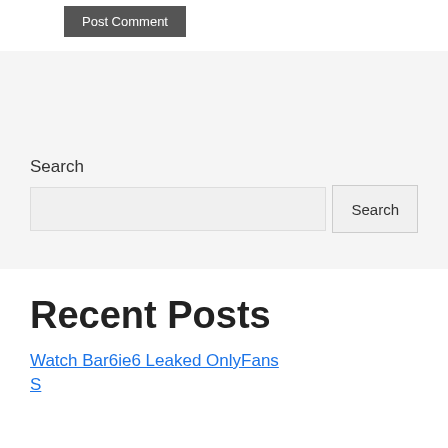[Figure (screenshot): Post Comment button (dark gray background, white text, partially visible at top)]
Search
Search [input field] Search [button]
Recent Posts
Watch Bar6ie6 Leaked OnlyFans
(partial link, cut off at bottom)